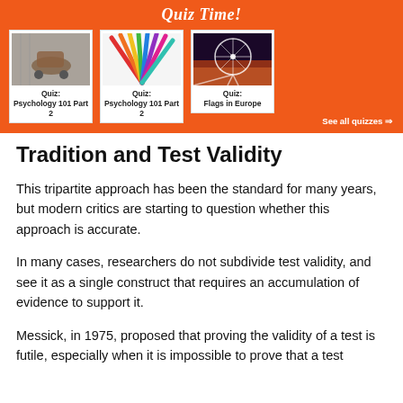[Figure (infographic): Orange banner with 'Quiz Time!' heading and three quiz cards showing images (roller skate, colorful pencils, ferris wheel at night) with labels 'Quiz: Psychology 101 Part 2', 'Quiz: Psychology 101 Part 2', 'Quiz: Flags in Europe'. A 'See all quizzes =>' link appears bottom right.]
Tradition and Test Validity
This tripartite approach has been the standard for many years, but modern critics are starting to question whether this approach is accurate.
In many cases, researchers do not subdivide test validity, and see it as a single construct that requires an accumulation of evidence to support it.
Messick, in 1975, proposed that proving the validity of a test is futile, especially when it is impossible to prove that a test